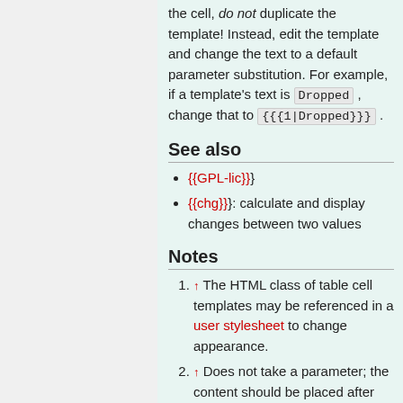the cell, do not duplicate the template! Instead, edit the template and change the text to a default parameter substitution. For example, if a template's text is Dropped , change that to {{{1|Dropped}}} .
See also
{{GPL-lic}}
{{chg}}: calculate and display changes between two values
Notes
↑ The HTML class of table cell templates may be referenced in a user stylesheet to change appearance.
↑ Does not take a parameter; the content should be placed after the template call, separated by a